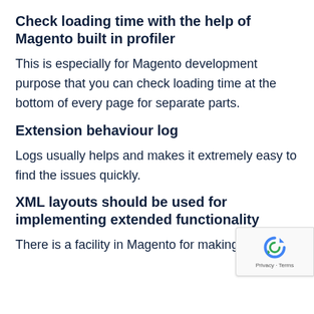Check loading time with the help of Magento built in profiler
This is especially for Magento development purpose that you can check loading time at the bottom of every page for separate parts.
Extension behaviour log
Logs usually helps and makes it extremely easy to find the issues quickly.
XML layouts should be used for implementing extended functionality
There is a facility in Magento for making differ...